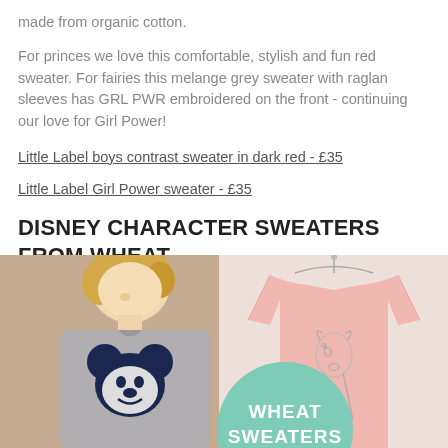made from organic cotton.
For princes we love this comfortable, stylish and fun red sweater. For fairies this melange grey sweater with raglan sleeves has GRL PWR embroidered on the front - continuing our love for Girl Power!
Little Label boys contrast sweater in dark red - £35
Little Label Girl Power sweater - £35
DISNEY CHARACTER SWEATERS FROM WHEAT
[Figure (photo): Left: a young blonde boy wearing a grey Mickey Mouse sweater against a beige/tan background. Right: a pink sweater with a deer (Bambi) line drawing on a hanger against a light background. A teal/mint circle overlay reads 'WHEAT SWEATERS'.]